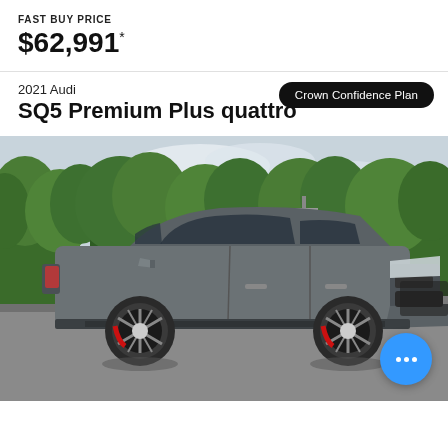FAST BUY PRICE
$62,991*
Crown Confidence Plan
2021 Audi
SQ5 Premium Plus quattro
[Figure (photo): Silver/grey 2021 Audi SQ5 Premium Plus quattro SUV photographed from the side in a parking lot with trees in the background. A blue chat bubble icon with three dots appears in the lower right corner.]